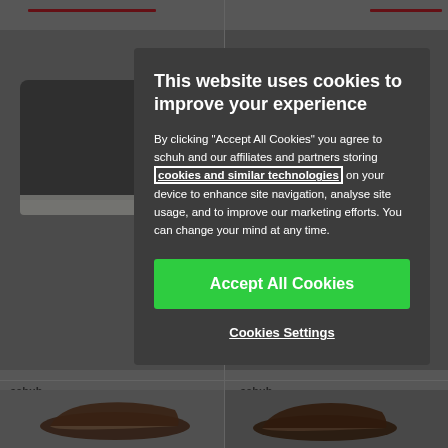[Figure (screenshot): Background of a shoe e-commerce website (schuh) showing product listings with brown shoes and product details, partially obscured by a cookie consent modal overlay]
This website uses cookies to improve your experience
By clicking "Accept All Cookies" you agree to schuh and our affiliates and partners storing cookies and similar technologies on your device to enhance site navigation, analyse site usage, and to improve our marketing efforts. You can change your mind at any time.
Accept All Cookies
Cookies Settings